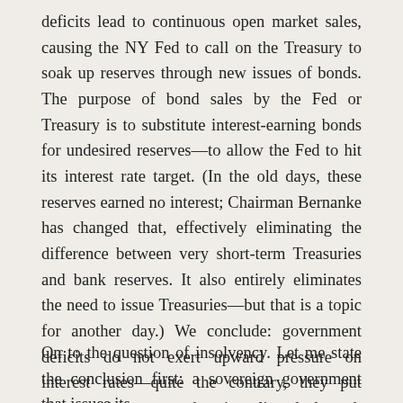deficits lead to continuous open market sales, causing the NY Fed to call on the Treasury to soak up reserves through new issues of bonds. The purpose of bond sales by the Fed or Treasury is to substitute interest-earning bonds for undesired reserves—to allow the Fed to hit its interest rate target. (In the old days, these reserves earned no interest; Chairman Bernanke has changed that, effectively eliminating the difference between very short-term Treasuries and bank reserves. It also entirely eliminates the need to issue Treasuries—but that is a topic for another day.) We conclude: government deficits do not exert upward pressure on interest rates—quite the contrary, they put downward pressure that is relieved through bond sales.
On to the question of insolvency. Let me state the conclusion first: a sovereign government that issues its